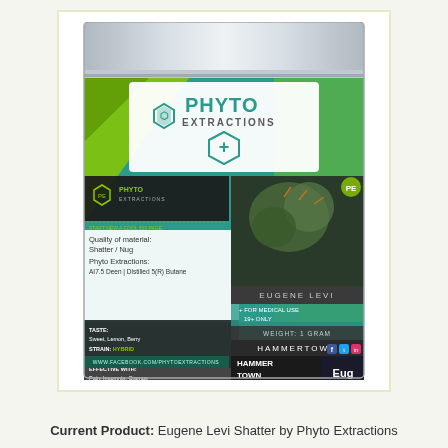[Figure (photo): A product package bag for 'Phyto Extractions' showing the front of a mylar resealable bag. The bag features teal/green and white design with the Phyto Extractions logo and a medical cross hexagon symbol. The lower half shows product details including: Quality of material: Shatter/Nug, Phyto Extractions: AI7.5 Deen / Distilled 5(R) Butane. Taste: Sweet, Lemon, Berry. Strain: Hybrid. Eugene Strain. Effective with: Pain, Insomnia, Cramps. The strain is 'Eugene Levi' and quantity is 1 gram. The product is labeled 'Hammertown'. A photo of cannabis plant material is visible on the right side of the bag. Social media icons and www.facebook.com/phytoextractions appear at the bottom.]
Current Product: Eugene Levi Shatter by Phyto Extractions